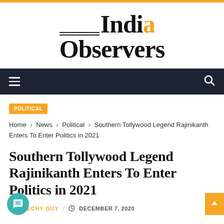India Observers
Navigation bar with hamburger menu and search icon
POLITICAL
Home › News › Political › Southern Tollywood Legend Rajinikanth Enters To Enter Politics in 2021
Southern Tollywood Legend Rajinikanth Enters To Enter Politics in 2021
THE TECHY GUY / DECEMBER 7, 2020